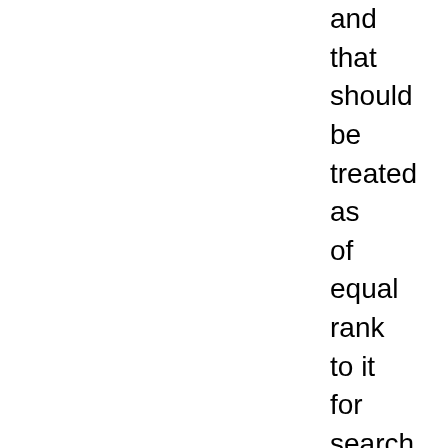and that should be treated as of equal rank to it for search purposes. For example, an entry with the primary headword kabbalah could have numerous